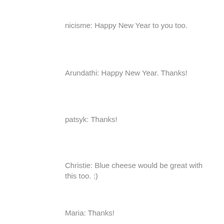nicisme: Happy New Year to you too.
Arundathi: Happy New Year. Thanks!
patsyk: Thanks!
Christie: Blue cheese would be great with this too. :)
Maria: Thanks!
Malar: Happy New year!
Kevin: Thanks!
Lore: This salad is calling your name.
Olga: Both options would work great here. :)
Susan: Thanks!
Reply